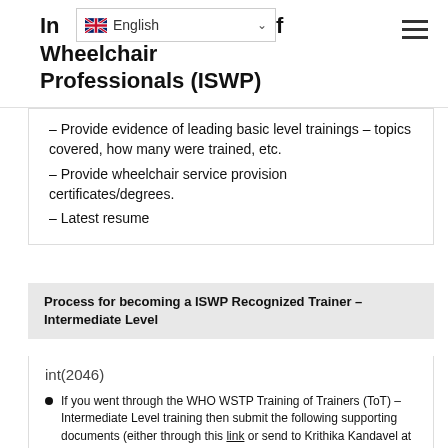International Society of Wheelchair Professionals (ISWP)
– Provide evidence of leading basic level trainings – topics covered, how many were trained, etc.
– Provide wheelchair service provision certificates/degrees.
– Latest resume
Process for becoming a ISWP Recognized Trainer – Intermediate Level
int(2046)
If you went through the WHO WSTP Training of Trainers (ToT) – Intermediate Level training then submit the following supporting documents (either through this link or send to Krithika Kandavel at krithikak@pitt.edu):
TCA from WHO WSTP ToT